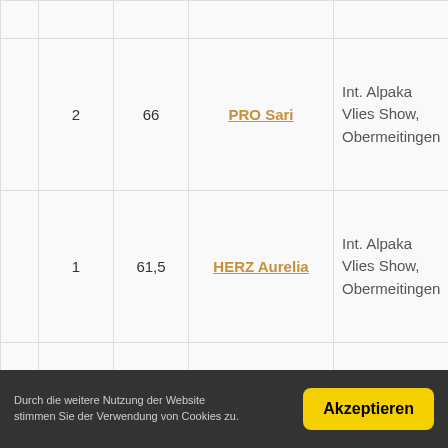|  |  |  |  |  |
| --- | --- | --- | --- | --- |
|  |  |  |  |  |
| 2 | 66 | PRO Sari | Int. Alpaka Vlies Show, Obermeitingen |
| 1 | 61,5 | HERZ Aurelia | Int. Alpaka Vlies Show, Obermeitingen |
| 1 | 60,5 | ARA Dancing Colors | Int. Alpaka Vlies Show, Obermeitingen |
Durch die weitere Nutzung der Website stimmen Sie der Verwendung von Cookies zu.